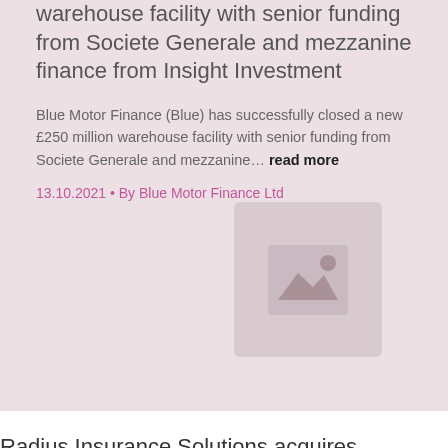warehouse facility with senior funding from Societe Generale and mezzanine finance from Insight Investment
Blue Motor Finance (Blue) has successfully closed a new £250 million warehouse facility with senior funding from Societe Generale and mezzanine… read more
13.10.2021 • By Blue Motor Finance Ltd
[Figure (illustration): Placeholder image thumbnail with mountain/image icon]
Radius Insurance Solutions acquires business motor specialist broker-underwriter Milestone
Sheffield, 13 October 2021. Radius Insurance Solutions has